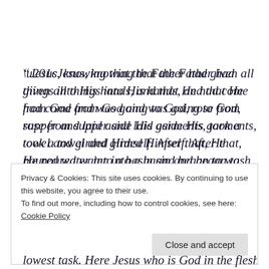“Jesus, knowing that the Father had given all things into His hands, and that He had come from God and was going to God, rose from supper and laid aside His garments, took a towel and girded Himself. After that, He poured water into a basin and began to wash the disciples’ feet, and to wipe them with the
Privacy & Cookies: This site uses cookies. By continuing to use this website, you agree to their use.
To find out more, including how to control cookies, see here: Cookie Policy
Close and accept
lowest task. Here Jesus who is God in the flesh